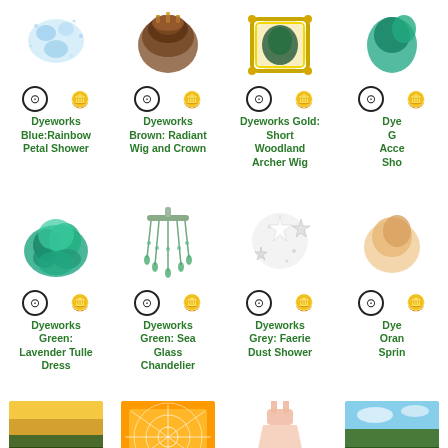[Figure (illustration): Grid of virtual item cards with icons, showing Dyeworks items from a game. Row 1: Dyeworks Blue:Rainbow Petal Shower, Dyeworks Brown: Radiant Wig and Crown, Dyeworks Gold: Short Woodland Archer Wig, Dyeworks G... (partially visible). Row 2: Dyeworks Green: Lavender Tulle Dress, Dyeworks Green: Sea Glass Chandelier, Dyeworks Grey: Faerie Dust Shower, Dyeworks Oran... Sprin... (partially visible). Row 3: landscape background, spider web item, pink dress, landscape background 2 (all partially visible).]